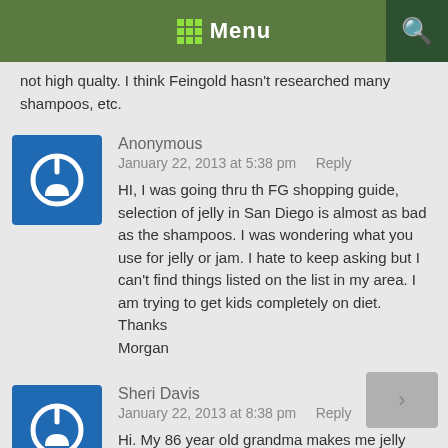Menu
not high qualty. I think Feingold hasn't researched many shampoos, etc.
Anonymous
January 22, 2013 at 5:38 pm   Reply
HI, I was going thru th FG shopping guide, selection of jelly in San Diego is almost as bad as the shampoos. I was wondering what you use for jelly or jam. I hate to keep asking but I can't find things listed on the list in my area. I am trying to get kids completely on diet.
Thanks
Morgan
Sheri Davis
January 22, 2013 at 8:38 pm   Reply
Hi. My 86 year old grandma makes me jelly every year! Are you trying to stay stage one or two? Target used to have a pear jelly that we used. It was the store brand –